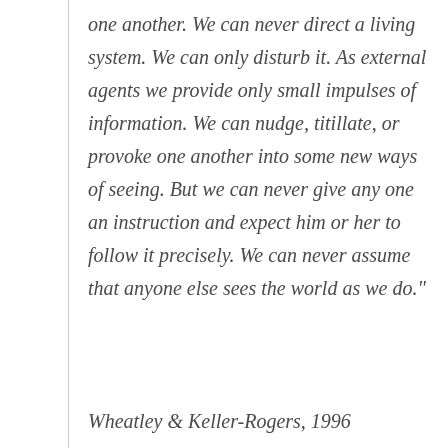one another. We can never direct a living system. We can only disturb it. As external agents we provide only small impulses of information. We can nudge, titillate, or provoke one another into some new ways of seeing. But we can never give any one an instruction and expect him or her to follow it precisely. We can never assume that anyone else sees the world as we do."
Wheatley & Keller-Rogers, 1996